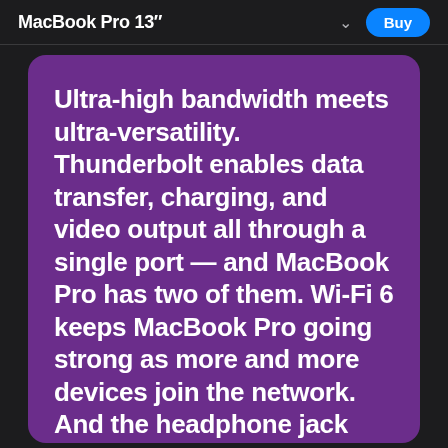MacBook Pro 13"
Ultra-high bandwidth meets ultra-versatility. Thunderbolt enables data transfer, charging, and video output all through a single port — and MacBook Pro has two of them. Wi-Fi 6 keeps MacBook Pro going strong as more and more devices join the network. And the headphone jack even supports high-impedance